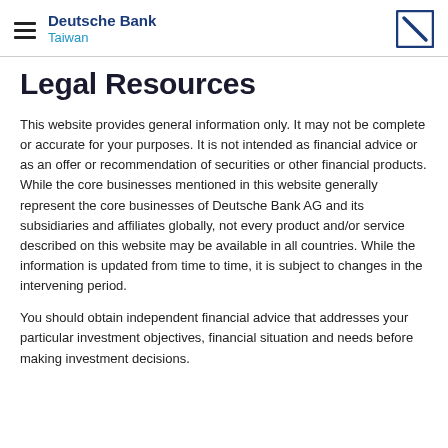Deutsche Bank Taiwan
Legal Resources
This website provides general information only. It may not be complete or accurate for your purposes. It is not intended as financial advice or as an offer or recommendation of securities or other financial products. While the core businesses mentioned in this website generally represent the core businesses of Deutsche Bank AG and its subsidiaries and affiliates globally, not every product and/or service described on this website may be available in all countries. While the information is updated from time to time, it is subject to changes in the intervening period.
You should obtain independent financial advice that addresses your particular investment objectives, financial situation and needs before making investment decisions.